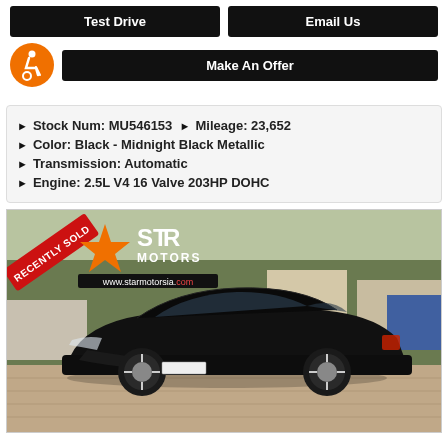Test Drive
Email Us
Make An Offer
Stock Num: MU546153   Mileage: 23,652
Color: Black - Midnight Black Metallic
Transmission: Automatic
Engine: 2.5L V4 16 Valve 203HP DOHC
[Figure (photo): Black Toyota Camry sedan photographed from front-left angle in parking lot, with Star Motors dealer logo and 'Recently Sold' red banner overlay in top-left corner]